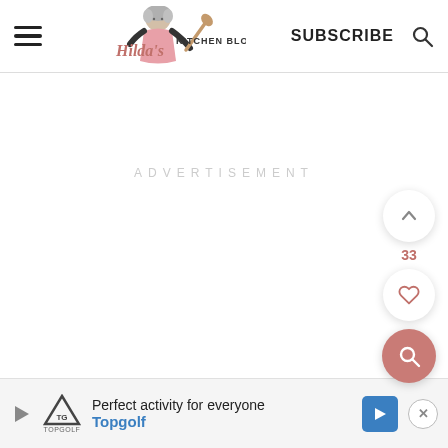[Figure (logo): Hilda's Kitchen Blog logo with illustrated woman in pink apron holding a spoon]
SUBSCRIBE
ADVERTISEMENT
33
Pro Tip
[Figure (infographic): Bottom advertisement banner: Perfect activity for everyone - Topgolf]